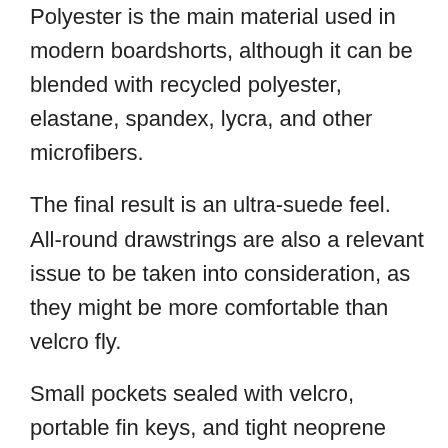Polyester is the main material used in modern boardshorts, although it can be blended with recycled polyester, elastane, spandex, lycra, and other microfibers.
The final result is an ultra-suede feel. All-round drawstrings are also a relevant issue to be taken into consideration, as they might be more comfortable than velcro fly.
Small pockets sealed with velcro, portable fin keys, and tight neoprene waistbands are some of the additional features that you will find in the world's best boardshorts.
The Best Boardshorts for 2022
Shop the latest and bestselling boardshorts. Our favorite surf trunks for the 2022 season are:
Rip Curl's boardshorts use stretch fabrics that are fused